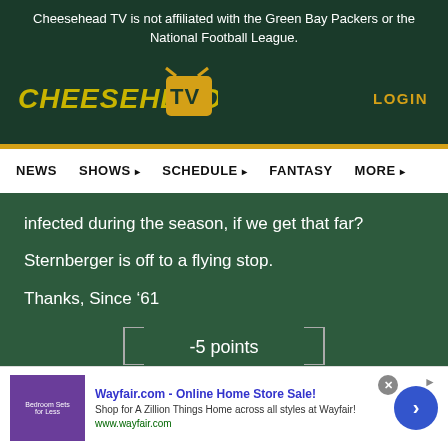Cheesehead TV is not affiliated with the Green Bay Packers or the National Football League.
[Figure (logo): Cheesehead TV logo with yellow text and TV icon on dark green background]
LOGIN
NEWS   SHOWS ▸   SCHEDULE ▸   FANTASY   MORE ▸
infected during the season, if we get that far?
Sternberger is off to a flying stop.
Thanks, Since '61
-5 points
[Figure (infographic): Thumbs up icon in yellow/gold color]
Wayfair.com - Online Home Store Sale! Shop for A Zillion Things Home across all styles at Wayfair! www.wayfair.com